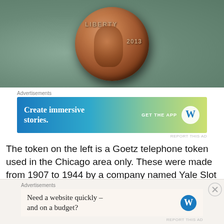[Figure (photo): Close-up photo of a 2013 Lincoln penny (cent) coin showing the obverse side with LIBERTY text and the year 2013, on a greenish-gray background]
Advertisements
[Figure (screenshot): WordPress advertisement banner with blue-to-yellow gradient background reading 'Create immersive stories.' with 'GET THE APP' and WordPress logo]
REPORT THIS AD
The token on the left is a Goetz telephone token used in the Chicago area only. These were made from 1907 to 1944 by a company named Yale Slot and Slug Company. The company was owned by a druggist named Harry Goetz and he ran the business until the company will
Advertisements
[Figure (screenshot): WordPress advertisement banner with beige background reading 'Need a website quickly – and on a budget?' with WordPress logo]
REPORT THIS AD